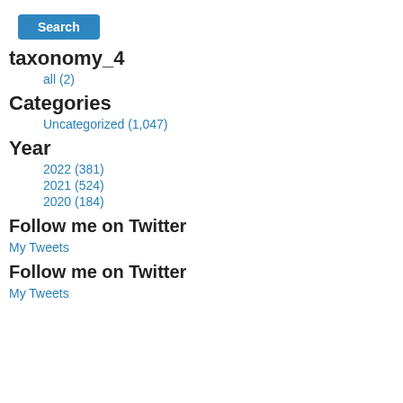[Figure (other): Blue Search button]
taxonomy_4
all (2)
Categories
Uncategorized (1,047)
Year
2022 (381)
2021 (524)
2020 (184)
Follow me on Twitter
My Tweets
Follow me on Twitter
My Tweets